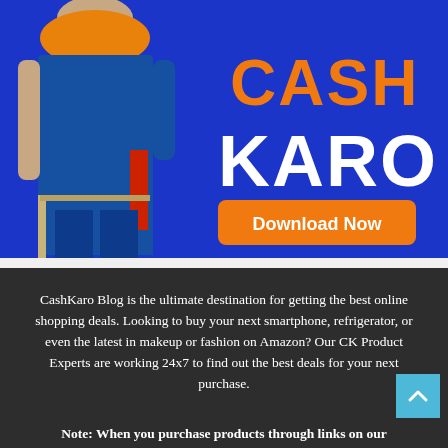[Figure (illustration): CashKaro advertisement banner with blue background. A person wearing traditional Indian blue outfit with orange dupatta stands on the left. On the right in large text: 'CASH' in orange, 'KARO' in white bold letters. Below is an orange rounded button with white text 'Download Now'.]
CashKaro Blog is the ultimate destination for getting the best online shopping deals. Looking to buy your next smartphone, refrigerator, or even the latest in makeup or fashion on Amazon? Our CK Product Experts are working 24x7 to find out the best deals for your next purchase.
Note: When you purchase products through links on our